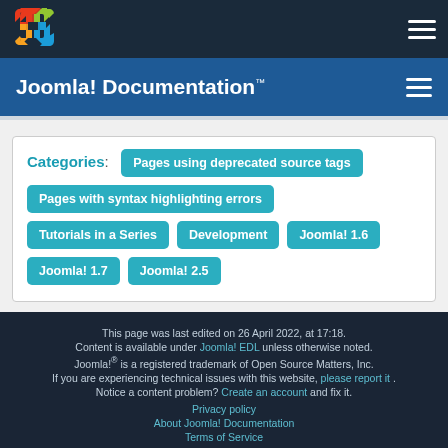Joomla! Documentation
Categories: Pages using deprecated source tags | Pages with syntax highlighting errors | Tutorials in a Series | Development | Joomla! 1.6 | Joomla! 1.7 | Joomla! 2.5
This page was last edited on 26 April 2022, at 17:18. Content is available under Joomla! EDL unless otherwise noted. Joomla! is a registered trademark of Open Source Matters, Inc. If you are experiencing technical issues with this website, please report it. Notice a content problem? Create an account and fix it. Privacy policy | About Joomla! Documentation | Terms of Service